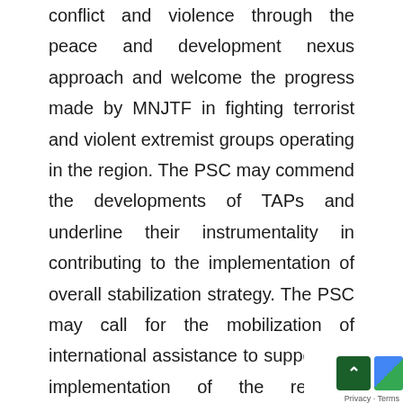conflict and violence through the peace and development nexus approach and welcome the progress made by MNJTF in fighting terrorist and violent extremist groups operating in the region. The PSC may commend the developments of TAPs and underline their instrumentality in contributing to the implementation of overall stabilization strategy. The PSC may call for the mobilization of international assistance to support the implementation of the regional strategy through the TAPs to promote peace, security and